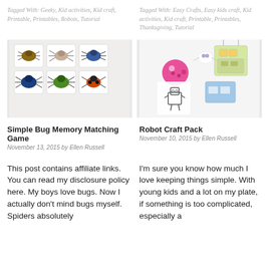Tagged With: Geeky, Kid activities, Kid craft, Printable, Printables, Robots, Tutorial
Tagged With: Easy Crafts, Easy kids craft, Kid activities, Kid craft, Printable, Printables, Thanksgiving, Tutorial
[Figure (photo): Photo of insect/bug matching game cards laid out on white surface]
[Figure (photo): Photo of robot craft pack items including drawn robots and colorful paper craft pieces]
Simple Bug Memory Matching Game
November 13, 2015 by Ellen Russell
Robot Craft Pack
November 10, 2015 by Ellen Russell
This post contains affiliate links. You can read my disclosure policy here. My boys love bugs. Now I actually don't mind bugs myself. Spiders absolutely
I'm sure you know how much I love keeping things simple. With young kids and a lot on my plate, if something is too complicated, especially a